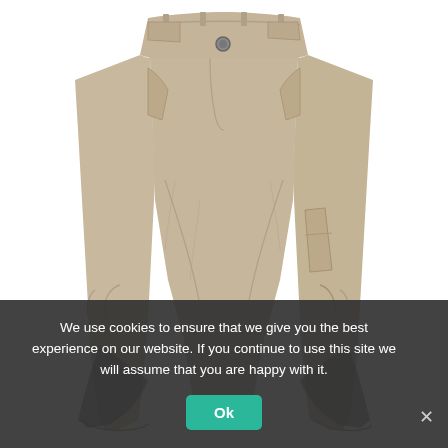[Figure (photo): A pair of khaki/tan tactical cargo pants shown from waist to ankle on a white background. The pants have multiple pockets including side cargo pocket, articulated knees, and a button/zipper fly.]
We use cookies to ensure that we give you the best experience on our website. If you continue to use this site we will assume that you are happy with it.